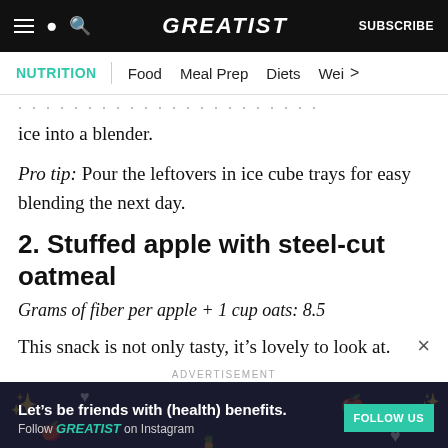GREATIST | SUBSCRIBE
NUTRITION | Food | Meal Prep | Diets | Wei >
ice into a blender.
Pro tip: Pour the leftovers in ice cube trays for easy blending the next day.
2. Stuffed apple with steel-cut oatmeal
Grams of fiber per apple + 1 cup oats: 8.5
This snack is not only tasty, it’s lovely to look at.
ADVERTISEMENT
Let’s be friends with (health) benefits. Follow GREATIST on Instagram FOLLOW US